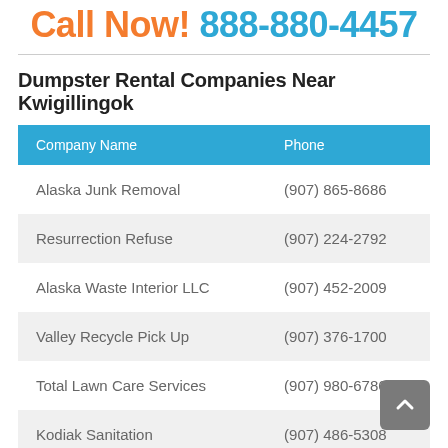Call Now! 888-880-4457
Dumpster Rental Companies Near Kwigillingok
| Company Name | Phone |
| --- | --- |
| Alaska Junk Removal | (907) 865-8686 |
| Resurrection Refuse | (907) 224-2792 |
| Alaska Waste Interior LLC | (907) 452-2009 |
| Valley Recycle Pick Up | (907) 376-1700 |
| Total Lawn Care Services | (907) 980-6786 |
| Kodiak Sanitation | (907) 486-5308 |